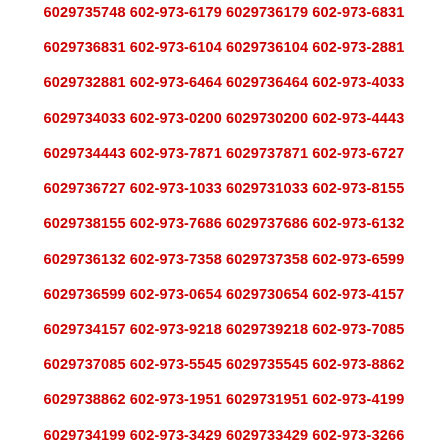6029735748 602-973-6179 6029736179 602-973-6831
6029736831 602-973-6104 6029736104 602-973-2881
6029732881 602-973-6464 6029736464 602-973-4033
6029734033 602-973-0200 6029730200 602-973-4443
6029734443 602-973-7871 6029737871 602-973-6727
6029736727 602-973-1033 6029731033 602-973-8155
6029738155 602-973-7686 6029737686 602-973-6132
6029736132 602-973-7358 6029737358 602-973-6599
6029736599 602-973-0654 6029730654 602-973-4157
6029734157 602-973-9218 6029739218 602-973-7085
6029737085 602-973-5545 6029735545 602-973-8862
6029738862 602-973-1951 6029731951 602-973-4199
6029734199 602-973-3429 6029733429 602-973-3266
6029733266 602-973-2741 6029732741 602-973-3341
6029733341 602-973-8060 6029738060 602-973-8812
6029738812 602-973-6169 6029736169 602-973-3216
6029733216 602-973-4573 6029734573 602-973-6462
6029736462 602-973-7863 6029737863 602-973-8898
6029738898 602-973-1419 6029731419 602-973-6640
6029736640 602-973-0471 6029730471 602-973-3842
6029733842 602-973-3362 6029733362 602-973-6343
6029736343 602-973-3311 6029733311 602-973-2160
6029732160 602-973-5745 6029735745 602-973-2021
6029732021 602-973-6294 6029736294 602-973-7579
6029737579 602-973-3396 6029733396 602-973-4997